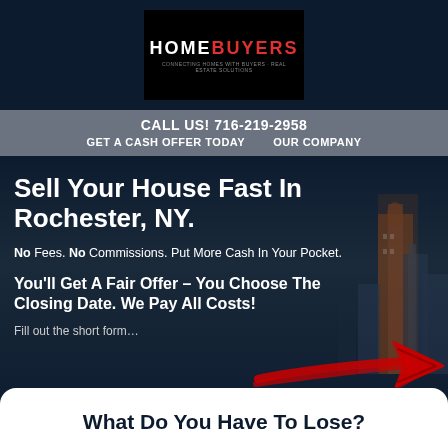[Figure (logo): Home Buyers logo in black box, white HOME and red BUYERS text]
CALL US! 716-219-2958
GET A CASH OFFER TODAY   OUR COMPANY
Sell Your House Fast In Rochester, NY.
No Fees. No Commissions. Put More Cash In Your Pocket.
You'll Get A Fair Offer – You Choose The Closing Date. We Pay All Costs!
Fill out the short form…
[Figure (illustration): Red hand-drawn arrow pointing right]
What Do You Have To Lose?